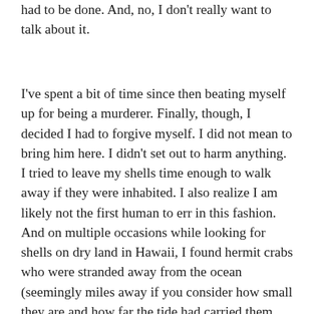had to be done. And, no, I don't really want to talk about it.
I've spent a bit of time since then beating myself up for being a murderer. Finally, though, I decided I had to forgive myself. I did not mean to bring him here. I didn't set out to harm anything. I tried to leave my shells time enough to walk away if they were inhabited. I also realize I am likely not the first human to err in this fashion. And on multiple occasions while looking for shells on dry land in Hawaii, I found hermit crabs who were stranded away from the ocean (seemingly miles away if you consider how small they are and how far the tide had carried them from their point of origin) and picked them up and returned them to tidal pools,